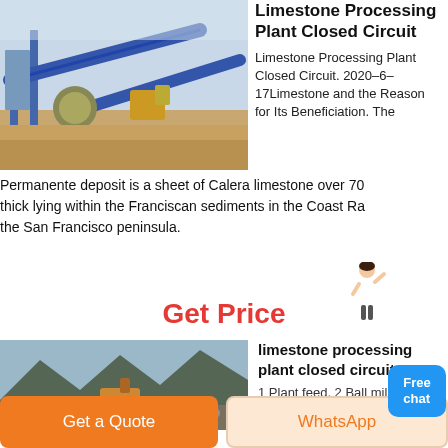Limestone Processing Plant Closed Circuit
Limestone Processing Plant Closed Circuit. 2020–6–17Limestone and the Reason for Its Beneficiation. The Permanente deposit is a sheet of Calera limestone over 70 thick lying within the Franciscan sediments in the Coast Ra the San Francisco peninsula.
Get Price
[Figure (photo): Industrial limestone processing plant with blue conveyors and crushing equipment]
[Figure (photo): Limestone quarry with excavation equipment in mountainous terrain]
limestone processing plant closed circuit
1 Plant feed. 2 Ball mill feed. 5 Ball mill discharge